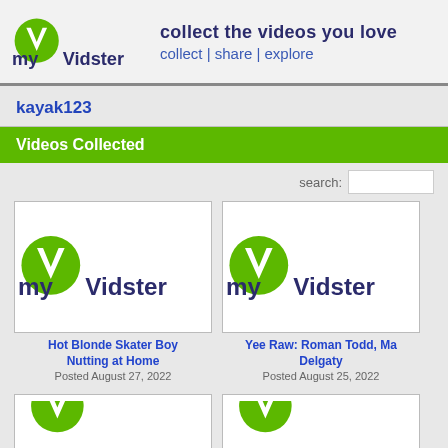myVidster — collect the videos you love | collect | share | explore
kayak123
Videos Collected
[Figure (screenshot): myVidster logo thumbnail for video: Hot Blonde Skater Boy Nutting at Home]
Hot Blonde Skater Boy Nutting at Home
Posted August 27, 2022
[Figure (screenshot): myVidster logo thumbnail for video: Yee Raw: Roman Todd, Ma Delgaty]
Yee Raw: Roman Todd, Ma Delgaty
Posted August 25, 2022
[Figure (screenshot): myVidster logo thumbnail partial (cut off at bottom)]
[Figure (screenshot): myVidster logo thumbnail partial (cut off at bottom)]